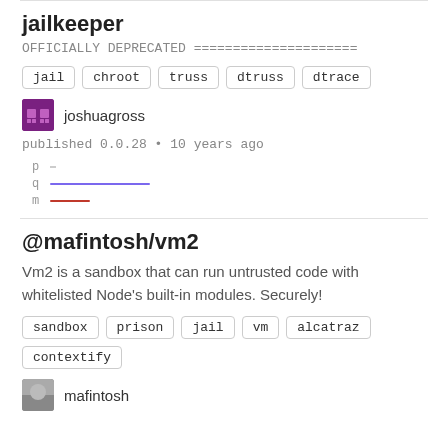jailkeeper
OFFICIALLY DEPRECATED =====================
jail
chroot
truss
dtruss
dtrace
joshuagross
published 0.0.28 • 10 years ago
[Figure (line-chart): Small sparkline chart with p, q, m labels and colored lines (q=purple, m=red)]
@mafintosh/vm2
Vm2 is a sandbox that can run untrusted code with whitelisted Node's built-in modules. Securely!
sandbox
prison
jail
vm
alcatraz
contextify
mafintosh